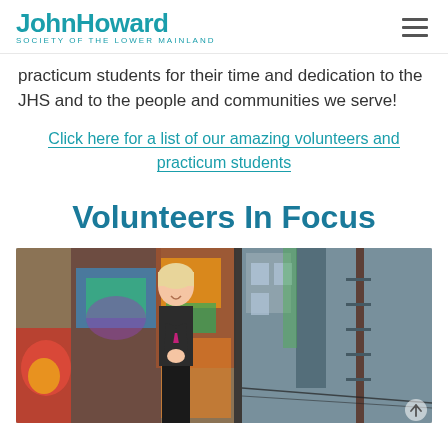JohnHoward SOCIETY OF THE LOWER MAINLAND
practicum students for their time and dedication to the JHS and to the people and communities we serve!
Click here for a list of our amazing volunteers and practicum students
Volunteers In Focus
[Figure (photo): A woman with blonde hair standing in a prayer/namaste pose in front of a colorful graffiti-covered brick wall alleyway, smiling upward. She is wearing a black top with a pink accent. The alleyway shows brick buildings with fire escapes on the right side.]